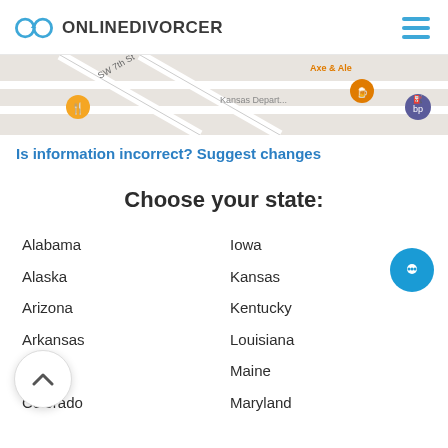ONLINEDIVORCER
[Figure (map): Google Maps snippet showing SW 7th St area with Kansas Department label, Axe & Ale, bp, and restaurant pins]
Is information incorrect? Suggest changes
Choose your state:
Alabama
Alaska
Arizona
Arkansas
California
Colorado
Iowa
Kansas
Kentucky
Louisiana
Maine
Maryland